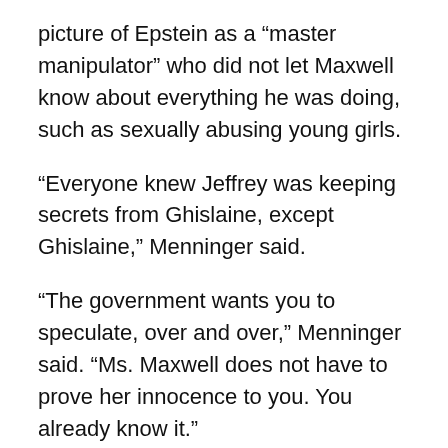picture of Epstein as a “master manipulator” who did not let Maxwell know about everything he was doing, such as sexually abusing young girls.
“Everyone knew Jeffrey was keeping secrets from Ghislaine, except Ghislaine,” Menninger said.
“The government wants you to speculate, over and over,” Menninger said. “Ms. Maxwell does not have to prove her innocence to you. You already know it.”